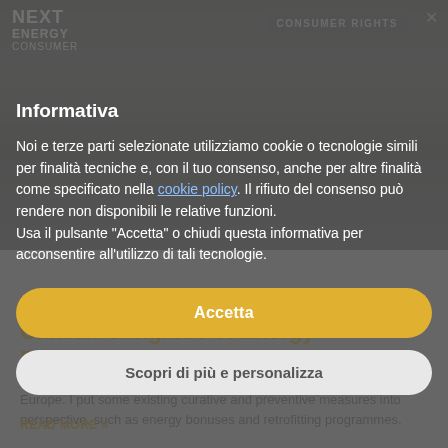[Figure (screenshot): Screenshot of a website (Next Energy Consumer) with a cookie consent modal overlay. The background shows a group photo of people and article content. The modal contains Italian-language cookie notice text with Accept and Customize buttons.]
NEXT ENERGY CONSUMER
CONSUMER RIGHTS
Informativa
Noi e terze parti selezionate utilizziamo cookie o tecnologie simili per finalità tecniche e, con il tuo consenso, anche per altre finalità come specificato nella cookie policy. Il rifiuto del consenso può rendere non disponibili le relative funzioni.
Usa il pulsante "Accetta" o chiudi questa informativa per acconsentire all'utilizzo di tali tecnologie.
Accetta
Scopri di più e personalizza
Reflections from the Second Catalan Congress of Energy Poverty
I was invited to talk about energy poverty mitigation initiatives in Europe. I put some existing curative and preventive measures into perspective, such as energy bonuses and retrofitting programmes.
READ MORE »